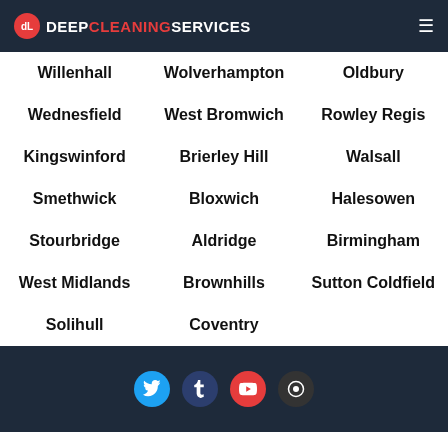Deep Cleaning Services
Willenhall
Wolverhampton
Oldbury
Wednesfield
West Bromwich
Rowley Regis
Kingswinford
Brierley Hill
Walsall
Smethwick
Bloxwich
Halesowen
Stourbridge
Aldridge
Birmingham
West Midlands
Brownhills
Sutton Coldfield
Solihull
Coventry
Social media icons: Twitter, Tumblr, YouTube, Other